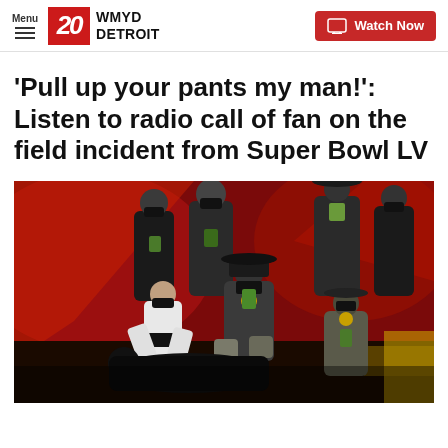Menu  20 WMYD DETROIT  Watch Now
'Pull up your pants my man!': Listen to radio call of fan on the field incident from Super Bowl LV
[Figure (photo): Law enforcement officers in masks detaining a person on the field at Super Bowl LV, with a red backdrop visible behind them. Multiple officers wearing black uniforms and sheriff badges are visible, some kneeling.]